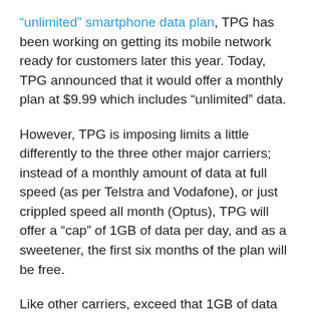“unlimited” smartphone data plan, TPG has been working on getting its mobile network ready for customers later this year. Today, TPG announced that it would offer a monthly plan at $9.99 which includes “unlimited” data.
However, TPG is imposing limits a little differently to the three other major carriers; instead of a monthly amount of data at full speed (as per Telstra and Vodafone), or just crippled speed all month (Optus), TPG will offer a “cap” of 1GB of data per day, and as a sweetener, the first six months of the plan will be free.
Like other carriers, exceed that 1GB of data per day, and you’ll be speed restricted to 1Mbps for the rest of the day. This is a touch slower than the others, which are slowing to